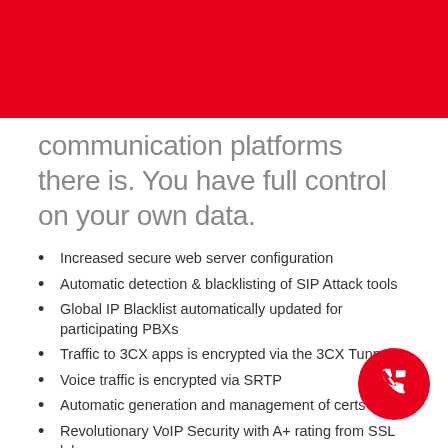[Figure (illustration): Red banner at top of page]
communication platforms there is. You have full control on your own data.
Increased secure web server configuration
Automatic detection & blacklisting of SIP Attack tools
Global IP Blacklist automatically updated for participating PBXs
Traffic to 3CX apps is encrypted via the 3CX Tunnel
Voice traffic is encrypted via SRTP
Automatic generation and management of certs
Revolutionary VoIP Security with A+ rating from SSL lab...